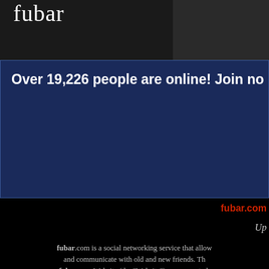fubar
Over 19,226 people are online! Join no
fubar.com
Up
fubar.com is a social networking service that allow and communicate with old and new friends. Th fubar.com Website (the "Website") you agree to b you register as a member ("Member"). If you wish use of the fubar.com services (the "Service"), ple the instructio
This Agreement sets out the legally binding term fubar.com may modify this Agreement from tim fubar.com on the Website. You agree to be bound such modification is posted. This Agreement i